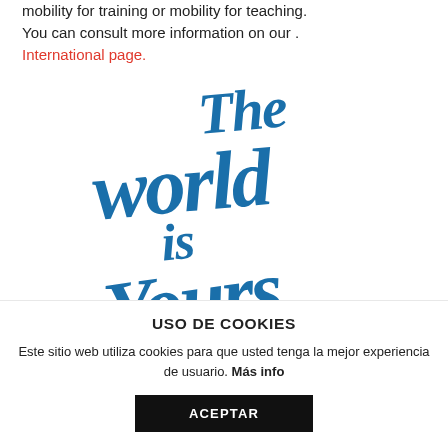mobility for training or mobility for teaching. You can consult more information on our . International page.
[Figure (illustration): Blue hand-lettered calligraphy text reading 'The world is Yours' in decorative script style on white background]
[Figure (logo): Small red icon of a person/user silhouette with a vertical line, indicating a login or account button]
USO DE COOKIES
Este sitio web utiliza cookies para que usted tenga la mejor experiencia de usuario. Más info
ACEPTAR